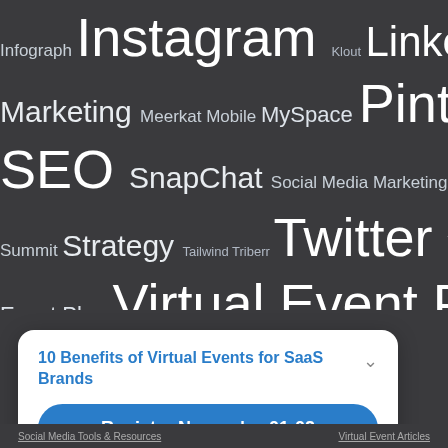[Figure (infographic): Word cloud on dark background featuring social media and marketing terms. Larger words include Instagram, LinkedIn, Twitter, Pinterest, Virtual Event Planning, YouTube, SEO. Smaller words include Infograph, Klout, Live Video, Marketing, Meerkat, Mobile, MySpace, Podcast, ROI, SnapChat, Social Media Marketing, Social Media Planner, Social Pulse, Summit, Strategy, Tailwind, Triberr, Video, Vine, Virtual, Event Plan, Virtual Event Strategy, Yahoo, Yelp.]
The Virtual Event Strategist Podcast
10 Benefits of Virtual Events for SaaS Brands
Register Now   01:02
3 more sessions »
Powered by eWebinar
Social Media Tools & Resources   Virtual Event Articles